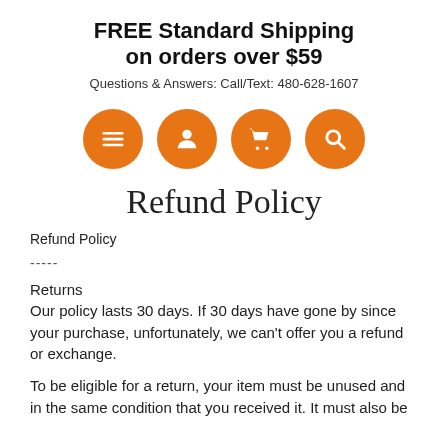FREE Standard Shipping on orders over $59
Questions & Answers: Call/Text: 480-628-1607
[Figure (infographic): Four orange circular icon buttons: menu (hamburger), user/person, shopping cart, and search (magnifying glass)]
Refund Policy
Refund Policy
-----
Returns
Our policy lasts 30 days. If 30 days have gone by since your purchase, unfortunately, we can't offer you a refund or exchange.
To be eligible for a return, your item must be unused and in the same condition that you received it. It must also be in the original packaging.